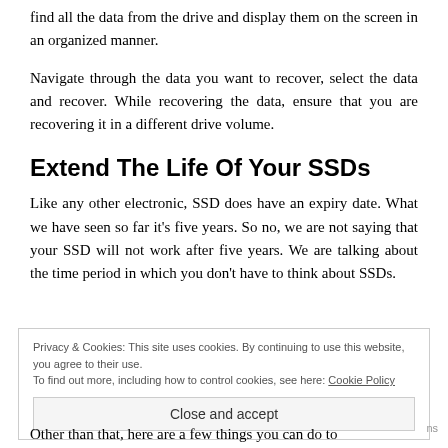find all the data from the drive and display them on the screen in an organized manner.
Navigate through the data you want to recover, select the data and recover. While recovering the data, ensure that you are recovering it in a different drive volume.
Extend The Life Of Your SSDs
Like any other electronic, SSD does have an expiry date. What we have seen so far it’s five years. So no, we are not saying that your SSD will not work after five years. We are talking about the time period in which you don’t have to think about SSDs.
Privacy & Cookies: This site uses cookies. By continuing to use this website, you agree to their use.
To find out more, including how to control cookies, see here: Cookie Policy
Close and accept
Other than that, here are a few things you can do to